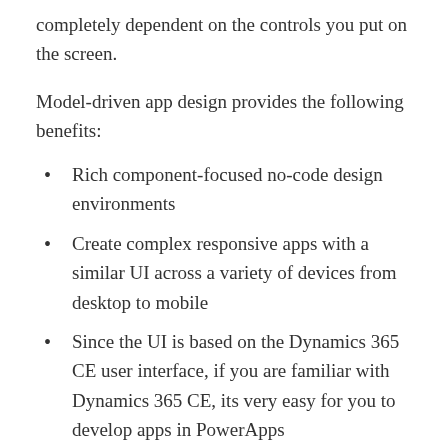completely dependent on the controls you put on the screen.
Model-driven app design provides the following benefits:
Rich component-focused no-code design environments
Create complex responsive apps with a similar UI across a variety of devices from desktop to mobile
Since the UI is based on the Dynamics 365 CE user interface, if you are familiar with Dynamics 365 CE, its very easy for you to develop apps in PowerApps
Your app can be distributed as a solution  to